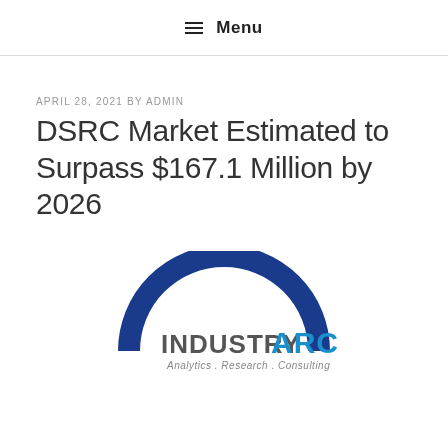≡ Menu
APRIL 28, 2021 BY ADMIN
DSRC Market Estimated to Surpass $167.1 Million by 2026
[Figure (logo): IndustryARC logo — a dark blue arc above the text 'INDUSTRYARC' with 'Analytics . Research . Consulting' below]